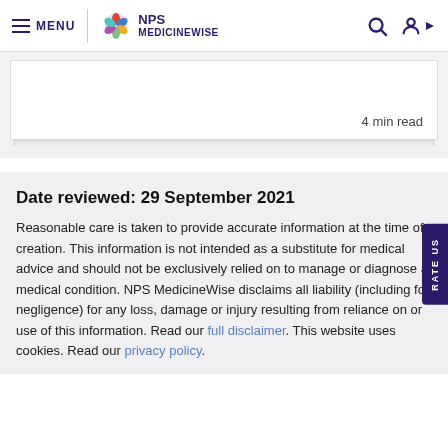MENU | NPS MEDICINEWISE
4 min read
Date reviewed: 29 September 2021
Reasonable care is taken to provide accurate information at the time of creation. This information is not intended as a substitute for medical advice and should not be exclusively relied on to manage or diagnose a medical condition. NPS MedicineWise disclaims all liability (including for negligence) for any loss, damage or injury resulting from reliance on or use of this information. Read our full disclaimer. This website uses cookies. Read our privacy policy.